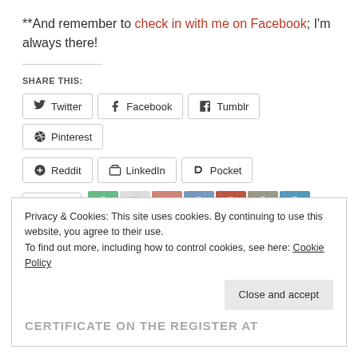**And remember to check in with me on Facebook; I'm always there!
SHARE THIS:
[Figure (other): Social share buttons: Twitter, Facebook, Tumblr, Pinterest, Reddit, LinkedIn, Pocket]
[Figure (other): Like button with star icon and 7 blogger avatars]
7 bloggers like this.
Privacy & Cookies: This site uses cookies. By continuing to use this website, you agree to their use. To find out more, including how to control cookies, see here: Cookie Policy
Close and accept